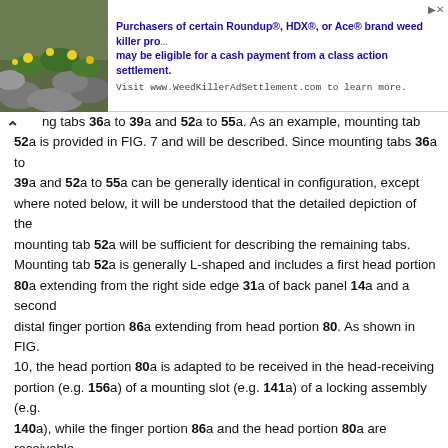[Figure (photo): Advertisement banner at top of page showing a plant/flower image on the left and text about Roundup class action settlement on the right]
ng tabs 36a to 39a and 52a to 55a. As an example, mounting tab 52a is provided in FIG. 7 and will be described. Since mounting tabs 36a to 39a and 52a to 55a can be generally identical in configuration, except where noted below, it will be understood that the detailed depiction of the mounting tab 52a will be sufficient for describing the remaining tabs. Mounting tab 52a is generally L-shaped and includes a first head portion 80a extending from the right side edge 31a of back panel 14a and a second distal finger portion 86a extending from head portion 80. As shown in FIG. 10, the head portion 80a is adapted to be received in the head-receiving portion (e.g. 156a) of a mounting slot (e.g. 141a) of a locking assembly (e.g. 140a), while the finger portion 86a and the head portion 80a are receivable through a second or finger receiving portion (e.g. 158a) of the tab-receiving slot (e.g. 141a). As shown in FIG. 7, the distal finger portion 86a of mounting tab 52a is oriented towards the bottom edge 27a (not shown) of panel 14a and away from top edge 25a (not shown). The distal finger 86a is also offset from the right side edge 31a such that the head portion 80a, finger 86a and edge 31a define a slot 81a; the opening of slot 81a being oriented towards the bottom edge 27a (not shown) of panel 14a and the closed portion of the slot oriented towards top edge 25a (not shown). As shown in FIG. 7, the U shaped slot 81a is adapted to receive the thickness